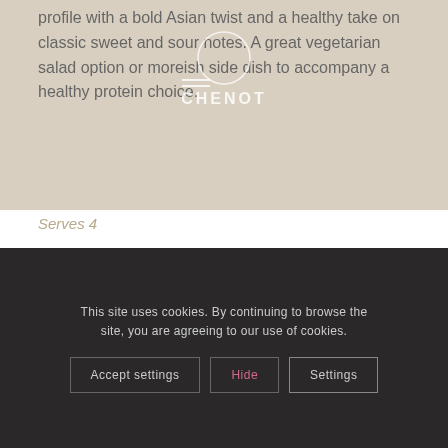profile with a bold Asian twist and a healthy take on classic sweet and sour notes. A great vegetarian salad option or moreish side dish to accompany a healthy protein choice.
[Figure (logo): Chenot brand logo with circular emblem and horizontal lines]
Serves 4
INGREDIENTS
Spiralised vegetables
100 g green zucchini
100 g yellow zucchini
40 g beetroot
80 g carrots
Sweet...
75 g rice vinegar
This site uses cookies. By continuing to browse the site, you are agreeing to our use of cookies.
Accept settings | Hide | Settings